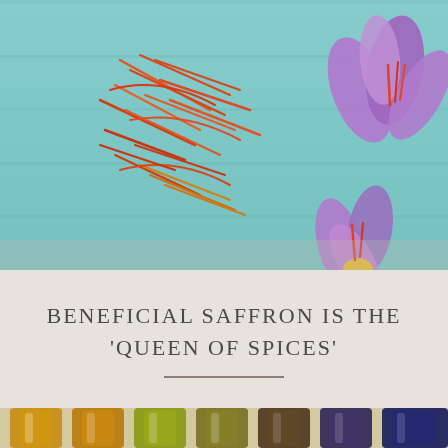[Figure (photo): Saffron threads (red-orange strands) scattered on a light teal/turquoise painted wooden board surface, with purple crocus saffron flowers in the upper right and lower right corners]
BENEFICIAL SAFFRON IS THE 'QUEEN OF SPICES'
[Figure (photo): Row of small glass bottles/jars containing various colored liquids (amber, yellow, olive, dark brown, dark blue) representing essential oils or extracts, partially cropped at bottom of page]